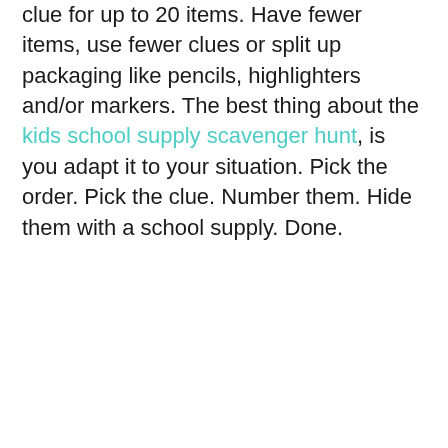clue for up to 20 items. Have fewer items, use fewer clues or split up packaging like pencils, highlighters and/or markers. The best thing about the kids school supply scavenger hunt, is you adapt it to your situation. Pick the order. Pick the clue. Number them. Hide them with a school supply. Done.